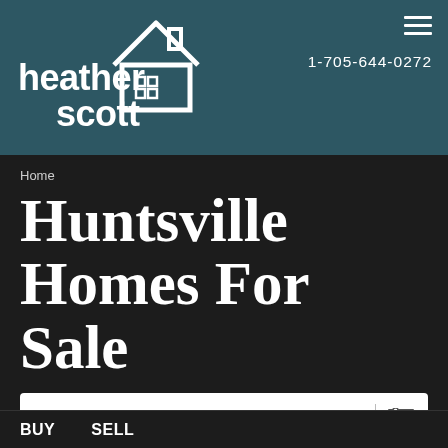[Figure (logo): Heather Scott real estate logo with house icon on teal background]
1-705-644-0272
Home
Huntsville Homes For Sale
City, Address, Postal Code
START SEARCH
BUY   SELL